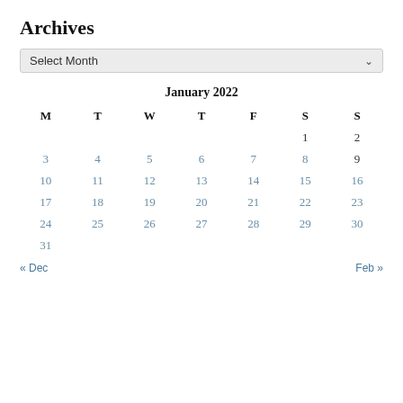Archives
Select Month
| M | T | W | T | F | S | S |
| --- | --- | --- | --- | --- | --- | --- |
|  |  |  |  |  | 1 | 2 |
| 3 | 4 | 5 | 6 | 7 | 8 | 9 |
| 10 | 11 | 12 | 13 | 14 | 15 | 16 |
| 17 | 18 | 19 | 20 | 21 | 22 | 23 |
| 24 | 25 | 26 | 27 | 28 | 29 | 30 |
| 31 |  |  |  |  |  |  |